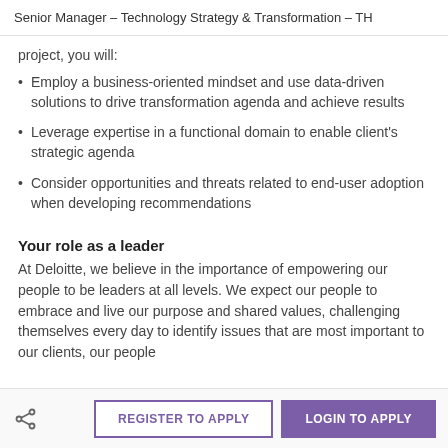Senior Manager - Technology Strategy & Transformation - TH
project, you will:
Employ a business-oriented mindset and use data-driven solutions to drive transformation agenda and achieve results
Leverage expertise in a functional domain to enable client's strategic agenda
Consider opportunities and threats related to end-user adoption when developing recommendations
Your role as a leader
At Deloitte, we believe in the importance of empowering our people to be leaders at all levels. We expect our people to embrace and live our purpose and shared values, challenging themselves every day to identify issues that are most important to our clients, our people